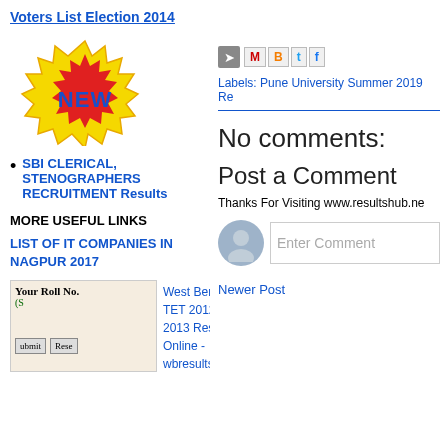Voters List Election 2014
[Figure (illustration): NEW badge starburst logo in yellow and red with blue text]
SBI CLERICAL, STENOGRAPHERS RECRUITMENT Results
MORE USEFUL LINKS
LIST OF IT COMPANIES IN NAGPUR 2017
[Figure (screenshot): Small thumbnail of a roll number lookup form with submit and reset buttons]
West Bengal TET 2012 - 2013 Result Online - wbresults.nic.in
[Figure (screenshot): Share icons row: email forward, Gmail M, Blogger B, Twitter t, Facebook f buttons]
Labels: Pune University Summer 2019 Re
No comments:
Post a Comment
Thanks For Visiting www.resultshub.ne
[Figure (screenshot): Comment input field with user avatar circle and Enter Comment placeholder]
Newer Post